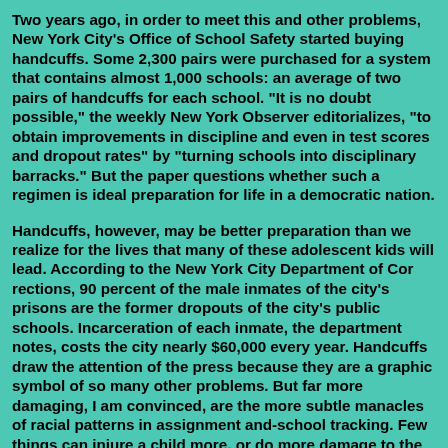Two years ago, in order to meet this and other problems, New York City's Office of School Safety started buying handcuffs. Some 2,300 pairs were purchased for a system that contains almost 1,000 schools: an average of two pairs of handcuffs for each school. "It is no doubt possible," the weekly New York Observer editorializes, "to obtain improvements in discipline and even in test scores and dropout rates" by "turning schools into disciplinary barracks." But the paper questions whether such a regimen is ideal preparation for life in a democratic nation.
Handcuffs, however, may be better preparation than we realize for the lives that many of these adolescent kids will lead. According to the New York City Department of Cor rections, 90 percent of the male inmates of the city's prisons are the former dropouts of the city's public schools. Incarceration of each inmate, the department notes, costs the city nearly $60,000 every year. Handcuffs draw the attention of the press because they are a graphic symbol of so many other problems. But far more damaging, I am convinced, are the more subtle manacles of racial patterns in assignment and-school tracking. Few things can injure a child more, or do more damage to the child's self-esteem, than to be locked into a bottom-level track as early as the first or second grade. Add to this the squalor of the setting and the ever-present message of a child's racial...